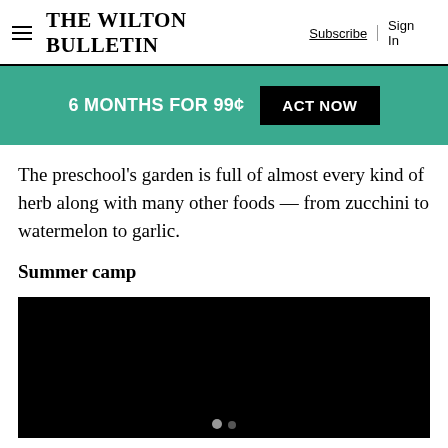The Wilton Bulletin | Subscribe | Sign In
[Figure (infographic): Teal promotional banner reading '6 MONTHS FOR 99¢' with black button 'ACT NOW']
The preschool's garden is full of almost every kind of herb along with many other foods — from zucchini to watermelon to garlic.
Summer camp
[Figure (photo): Black media/video block with two navigation dots at the bottom center]